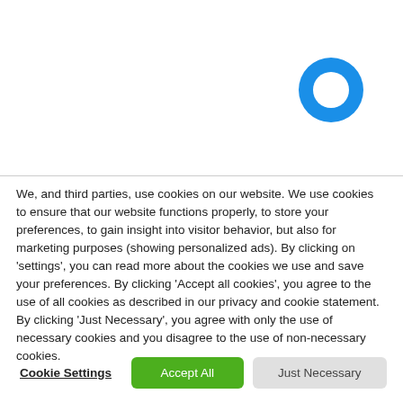[Figure (logo): Blue circular ring icon (Cortana or similar) in the upper right area of the page, on white background]
We, and third parties, use cookies on our website. We use cookies to ensure that our website functions properly, to store your preferences, to gain insight into visitor behavior, but also for marketing purposes (showing personalized ads). By clicking on 'settings', you can read more about the cookies we use and save your preferences. By clicking 'Accept all cookies', you agree to the use of all cookies as described in our privacy and cookie statement. By clicking 'Just Necessary', you agree with only the use of necessary cookies and you disagree to the use of non-necessary cookies.
Cookie Settings
Accept All
Just Necessary